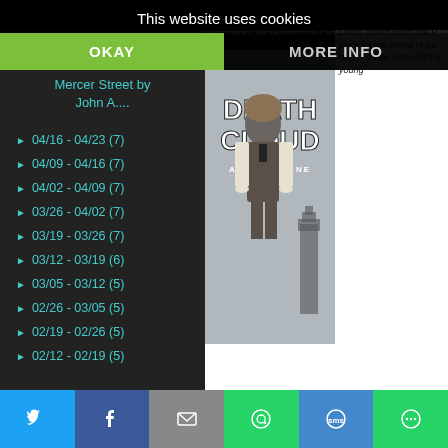This website uses cookies
OKAY
MORE INFO
Mercer Street by John A....
04/16 - 04/23 (7)
04/09 - 04/16 (7)
04/02 - 04/09 (7)
03/26 - 04/02 (7)
03/19 - 03/26 (7)
03/12 - 03/19 (6)
03/05 - 03/12 (5)
02/26 - 03/05 (5)
02/19 - 02/26 (5)
02/12 - 02/19 (5)
Buy My Name is Lucy Barton at Amazon
[Figure (photo): Book cover of Death Cloud by Andrew Lane — shows a young boy in Victorian attire with text TWO DEAD BODIES. ONE UNFORGETTABLE HERO. DEATH CLOUD ANDREW LANE]
Death Cloud ... adven... Holm... the P... prefa... let me... instea... Holm... adven... if She... perso... light o... young...
Social share buttons: Twitter, Facebook, Email, WhatsApp, SMS, More